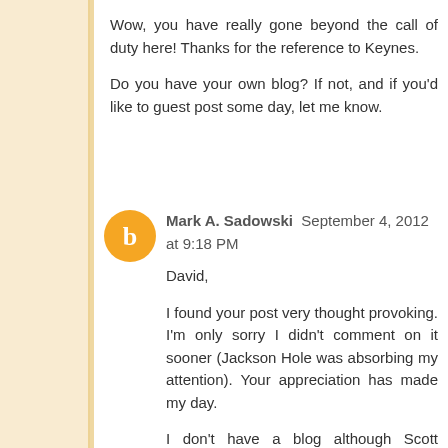Wow, you have really gone beyond the call of duty here! Thanks for the reference to Keynes.

Do you have your own blog? If not, and if you'd like to guest post some day, let me know.
Mark A. Sadowski  September 4, 2012 at 9:18 PM
David,

I found your post very thought provoking. I'm only sorry I didn't comment on it sooner (Jackson Hole was absorbing my attention). Your appreciation has made my day.

I don't have a blog although Scott Sumner once told me I should start one. I may do that someday when my personal life is somewhat more settled.

I've guest posted before but your site would be a